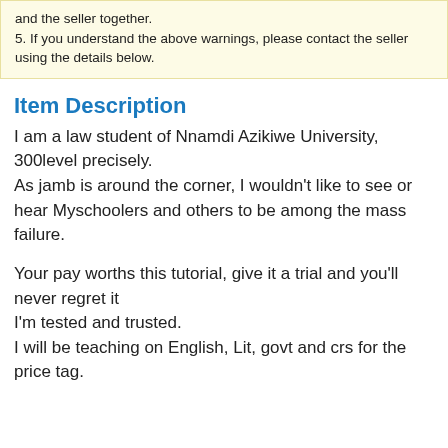and the seller together.
5. If you understand the above warnings, please contact the seller using the details below.
Item Description
I am a law student of Nnamdi Azikiwe University, 300level precisely.
As jamb is around the corner, I wouldn't like to see or hear Myschoolers and others to be among the mass failure.
Your pay worths this tutorial, give it a trial and you'll never regret it
I'm tested and trusted.
I will be teaching on English, Lit, govt and crs for the price tag.